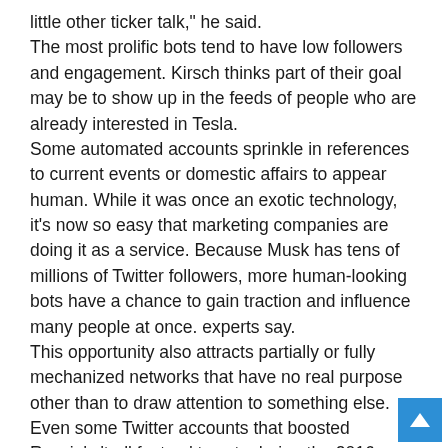little other ticker talk," he said. The most prolific bots tend to have low followers and engagement. Kirsch thinks part of their goal may be to show up in the feeds of people who are already interested in Tesla. Some automated accounts sprinkle in references to current events or domestic affairs to appear human. While it was once an exotic technology, it's now so easy that marketing companies are doing it as a service. Because Musk has tens of millions of Twitter followers, more human-looking bots have a chance to gain traction and influence many people at once. experts say. This opportunity also attracts partially or fully mechanized networks that have no real purpose other than to draw attention to something else. Even some Twitter accounts that boosted Russia's 'troll factory' tweets during the 2016 election have recently done the same for pro-Musk tweets that tag or praise him. Examining accounts now boosted by Twitter personas that had boosted troll factory accounts later suspended by Twitter, researcher Chris Scott found some with American flags in their